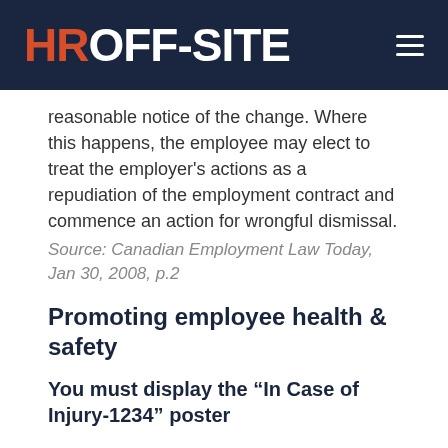HR OFF-SITE
reasonable notice of the change. Where this happens, the employee may elect to treat the employer's actions as a repudiation of the employment contract and commence an action for wrongful dismissal.
Source: Canadian Employment Law Today, Jan 30, 2008, p.2
Promoting employee health & safety
You must display the “In Case of Injury-1234” poster